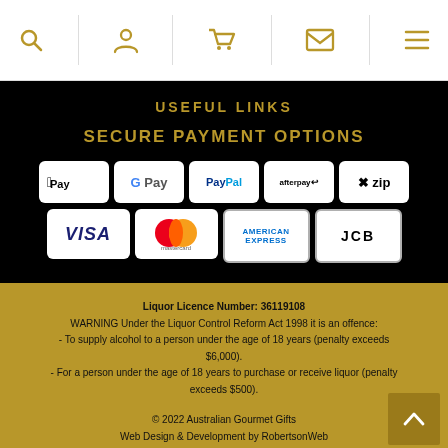[navigation icons: search, user, cart, mail, menu]
USEFUL LINKS
SECURE PAYMENT OPTIONS
[Figure (infographic): Payment method badges: Apple Pay, G Pay, PayPal, afterpay, zip, VISA, Mastercard, American Express, JCB]
Liquor Licence Number: 36119108
WARNING Under the Liquor Control Reform Act 1998 it is an offence:
- To supply alcohol to a person under the age of 18 years (penalty exceeds $6,000).
- For a person under the age of 18 years to purchase or receive liquor (penalty exceeds $500).
© 2022 Australian Gourmet Gifts
Web Design & Development by RobertsonWeb